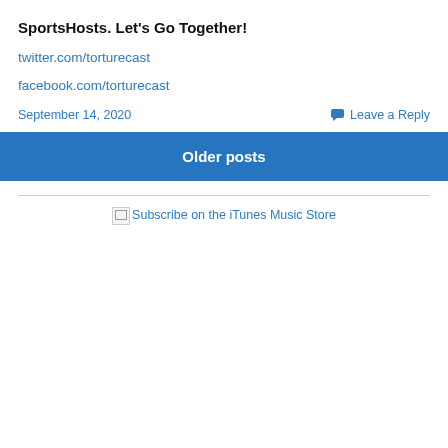SportsHosts. Let’s Go Together!
twitter.com/torturecast
facebook.com/torturecast
September 14, 2020
Leave a Reply
Older posts
Subscribe on the iTunes Music Store